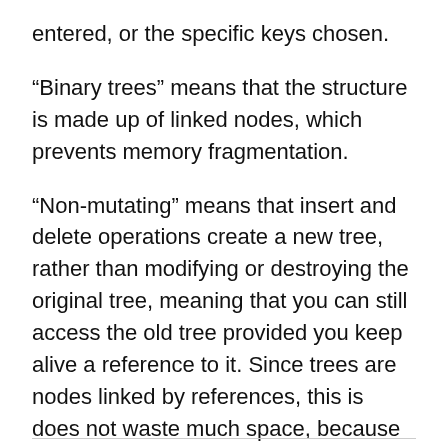entered, or the specific keys chosen.
“Binary trees” means that the structure is made up of linked nodes, which prevents memory fragmentation.
“Non-mutating” means that insert and delete operations create a new tree, rather than modifying or destroying the original tree, meaning that you can still access the old tree provided you keep alive a reference to it. Since trees are nodes linked by references, this is does not waste much space, because nodes that have not changed are shared between the two trees.